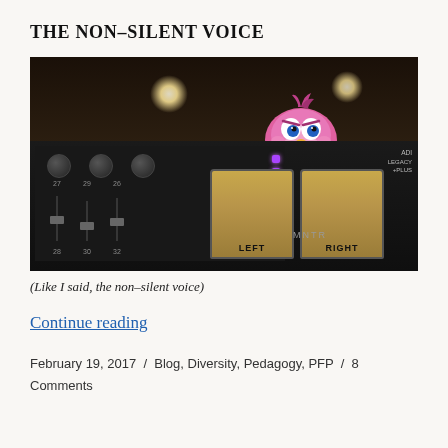THE NON-SILENT VOICE
[Figure (photo): A pink cartoon bird character (resembling an Angry Birds character) sitting atop a professional audio mixing console/studio monitor controller in a dark recording studio setting, with glowing purple LEDs and VU meters labeled LEFT and RIGHT MNTR.]
(Like I said, the non-silent voice)
Continue reading
February 19, 2017 / Blog, Diversity, Pedagogy, PFP / 8 Comments